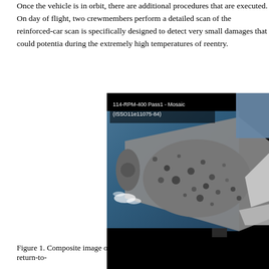Once the vehicle is in orbit, there are additional procedures that are executed. On day of flight, two crewmembers perform a detailed scan of the reinforced-carbon scan is specifically designed to detect very small damages that could potentially during the extremely high temperatures of reentry.
[Figure (photo): Composite mosaic image of Space Shuttle orbiter lower surface (underside), showing heat tiles with dark spots/damage marks, wing, and Earth/clouds in background. Labeled '114-RPM-400 Pass1 - Mosaic (ISSO11e11075-84)'. Partially cropped on right side.]
Figure 1. Composite image of Obiter lower surface taken during Discovery's return-to-